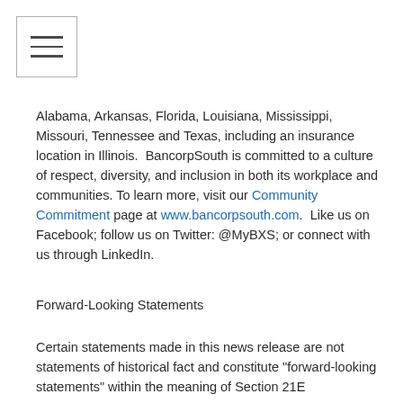[Figure (other): Hamburger menu icon — three horizontal lines inside a rectangle border]
Alabama, Arkansas, Florida, Louisiana, Mississippi, Missouri, Tennessee and Texas, including an insurance location in Illinois.  BancorpSouth is committed to a culture of respect, diversity, and inclusion in both its workplace and communities. To learn more, visit our Community Commitment page at www.bancorpsouth.com.  Like us on Facebook; follow us on Twitter: @MyBXS; or connect with us through LinkedIn.
Forward-Looking Statements
Certain statements made in this news release are not statements of historical fact and constitute "forward-looking statements" within the meaning of Section 21E